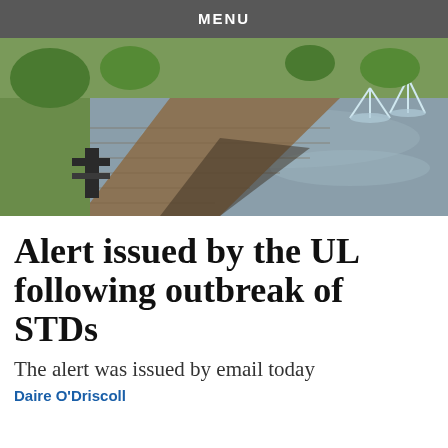MENU
[Figure (photo): Outdoor photo of a curved brick walkway along a water feature/pond with fountains, surrounded by green grass and trees]
Alert issued by the UL following outbreak of STDs
The alert was issued by email today
Daire O'Driscoll